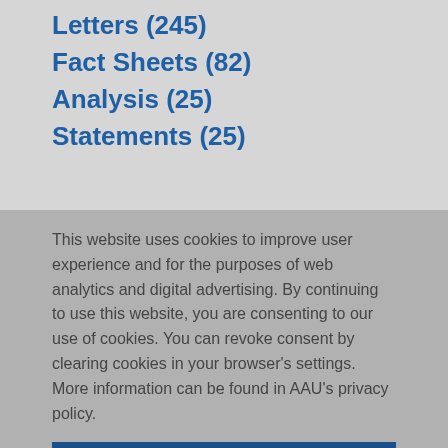Letters (245)
Fact Sheets (82)
Analysis (25)
Statements (25)
This website uses cookies to improve user experience and for the purposes of web analytics and digital advertising. By continuing to use this website, you are consenting to our use of cookies. You can revoke consent by clearing cookies in your browser's settings. More information can be found in AAU's privacy policy.
COOKIE SETTINGS
ACCEPT ALL